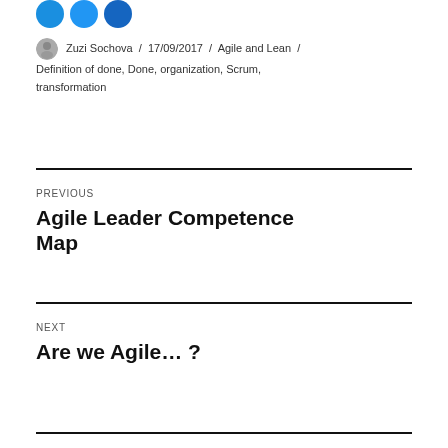[Figure (illustration): Three overlapping blue circle icons at the top]
Zuzi Sochova / 17/09/2017 / Agile and Lean / Definition of done, Done, organization, Scrum, transformation
PREVIOUS
Agile Leader Competence Map
NEXT
Are we Agile… ?